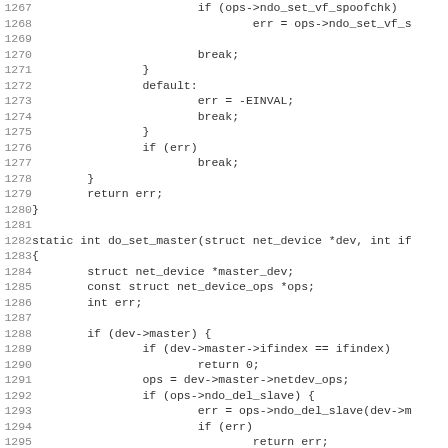[Figure (other): Source code listing in C, lines 1267-1299, showing switch/case default handling with error codes and a static function do_set_master with network device operations]